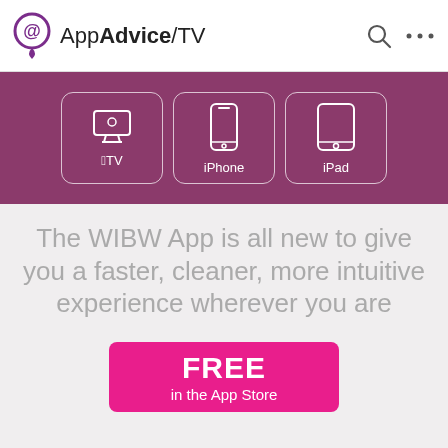AppAdvice/TV
[Figure (infographic): Navigation band with three device buttons: Apple TV, iPhone, iPad, with icons inside rounded rectangle outlines on a dark purple background]
The WIBW App is all new to give you a faster, cleaner, more intuitive experience wherever you are
FREE in the App Store